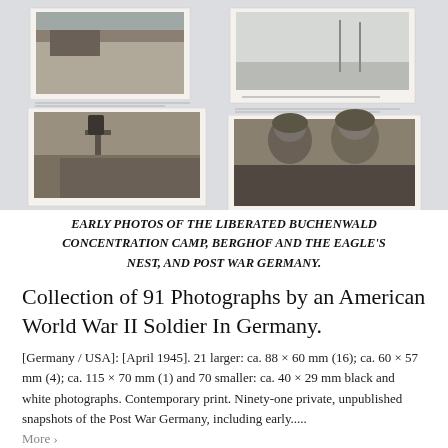[Figure (photo): A collection of historical black and white photographs laid out on a light gray surface, showing World War II era images including scenes from Buchenwald concentration camp and soldiers]
EARLY PHOTOS OF THE LIBERATED BUCHENWALD CONCENTRATION CAMP, BERGHOF AND THE EAGLE'S NEST, AND POST WAR GERMANY.
Collection of 91 Photographs by an American World War II Soldier In Germany.
[Germany / USA]: [April 1945]. 21 larger: ca. 88 × 60 mm (16); ca. 60 × 57 mm (4); ca. 115 × 70 mm (1) and 70 smaller: ca. 40 × 29 mm black and white photographs. Contemporary print. Ninety-one private, unpublished snapshots of the Post War Germany, including early.....
More >